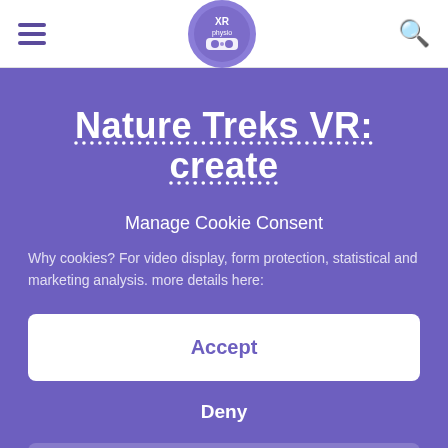[Figure (logo): XR Physio circular logo with purple background and VR goggles icon]
Nature Treks VR: create
Manage Cookie Consent
Why cookies? For video display, form protection, statistical and marketing analysis. more details here:
Accept
Deny
See preferences